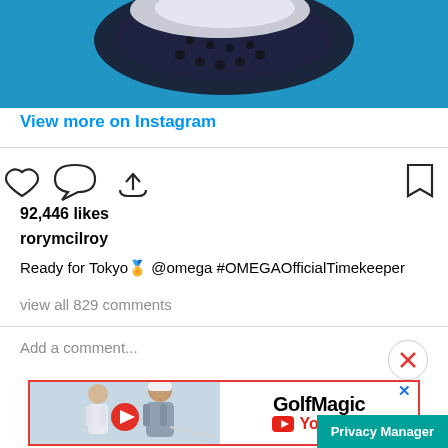[Figure (photo): Partial view of a golf shoe on a blue background, showing the sole with cleats]
View more on Instagram
[Figure (infographic): Instagram action icons: heart (like), comment bubble, share arrow on left; bookmark on right]
92,446 likes
rorymcilroy
Ready for Tokyo🏅 @omega #OMEGAOfficialTimekeeper
view all 829 comments
Add a comment...
[Figure (photo): GolfMagic YouTube advertisement banner featuring two golfers and a YouTube play button logo with GolfMagic text]